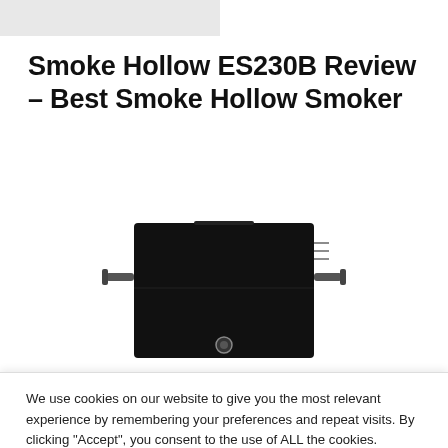Smoke Hollow ES230B Review – Best Smoke Hollow Smoker
[Figure (photo): Photo of Smoke Hollow ES230B electric smoker, a black rectangular box-shaped smoker with side handles and a front latch/button, viewed from the front]
We use cookies on our website to give you the most relevant experience by remembering your preferences and repeat visits. By clicking “Accept”, you consent to the use of ALL the cookies.
Do not sell my personal information.
Cookie settings
ACCEPT